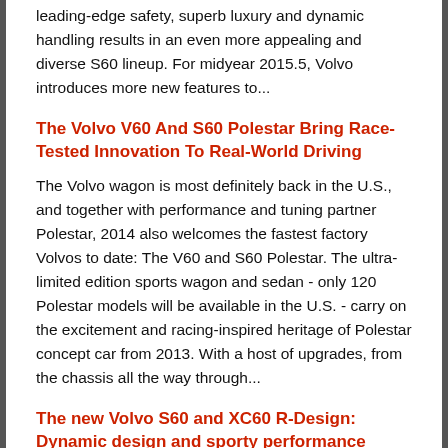leading-edge safety, superb luxury and dynamic handling results in an even more appealing and diverse S60 lineup. For midyear 2015.5, Volvo introduces more new features to...
The Volvo V60 And S60 Polestar Bring Race-Tested Innovation To Real-World Driving
The Volvo wagon is most definitely back in the U.S., and together with performance and tuning partner Polestar, 2014 also welcomes the fastest factory Volvos to date: The V60 and S60 Polestar. The ultra-limited edition sports wagon and sedan - only 120 Polestar models will be available in the U.S. - carry on the excitement and racing-inspired heritage of Polestar concept car from 2013. With a host of upgrades, from the chassis all the way through...
The new Volvo S60 and XC60 R-Design: Dynamic design and sporty performance